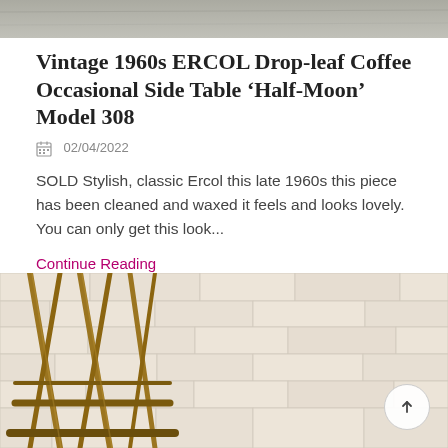[Figure (photo): Top portion of a photo, appears to be a grey/stone textured surface, partially visible at top of page]
Vintage 1960s ERCOL Drop-leaf Coffee Occasional Side Table ‘Half-Moon’ Model 308
02/04/2022
SOLD Stylish, classic Ercol this late 1960s this piece has been cleaned and waxed it feels and looks lovely. You can only get this look...
Continue Reading
[Figure (photo): Photo showing wooden chair or furniture legs with crossed spindle design against a whitewashed brick wall background, warm golden wood tone]